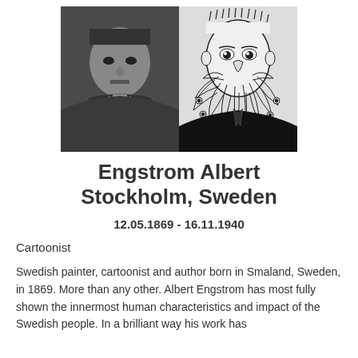[Figure (photo): Two side-by-side images: left is a black-and-white photograph of Albert Engstrom, a man with short hair and a small mustache; right is an illustrated caricature of a man with an elaborate feathered or floral beard.]
Engstrom Albert
Stockholm, Sweden
12.05.1869 - 16.11.1940
Cartoonist
Swedish painter, cartoonist and author born in Smaland, Sweden, in 1869. More than any other. Albert Engstrom has most fully shown the innermost human characteristics and impact of the Swedish people. In a brilliant way his work has